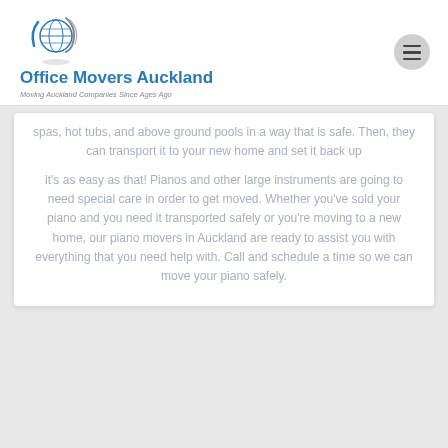[Figure (logo): Office Movers Auckland logo with globe and swoosh graphic]
Office Movers Auckland
Moving Auckland Companies Since Ages Ago
spas, hot tubs, and above ground pools in a way that is safe. Then, they can transport it to your new home and set it back up
it's as easy as that! Pianos and other large instruments are going to need special care in order to get moved. Whether you've sold your piano and you need it transported safely or you're moving to a new home, our piano movers in Auckland are ready to assist you with everything that you need help with. Call and schedule a time so we can move your piano safely.